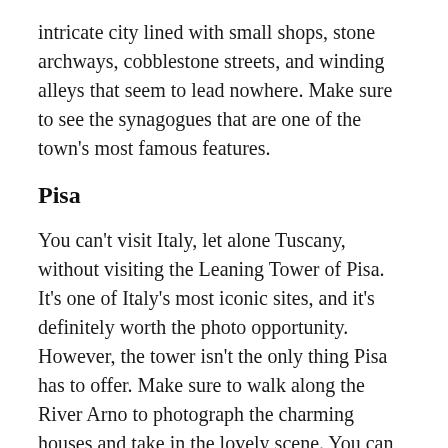intricate city lined with small shops, stone archways, cobblestone streets, and winding alleys that seem to lead nowhere. Make sure to see the synagogues that are one of the town's most famous features.
Pisa
You can't visit Italy, let alone Tuscany, without visiting the Leaning Tower of Pisa. It's one of Italy's most iconic sites, and it's definitely worth the photo opportunity. However, the tower isn't the only thing Pisa has to offer. Make sure to walk along the River Arno to photograph the charming houses and take in the lovely scene. You can also check out the Duomo di Pisa, the Camposanto, and the Baptistery. If you want to get in some shopping while you're in Pisa, make sure to visit the pedestrian-only shopping district on